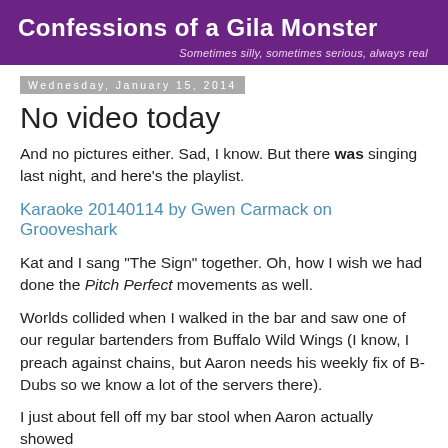Confessions of a Gila Monster — Sometimes silly, sometimes serious, always real
Wednesday, January 15, 2014
No video today
And no pictures either. Sad, I know. But there was singing last night, and here's the playlist.
Karaoke 20140114 by Gwen Carmack on Grooveshark
Kat and I sang "The Sign" together. Oh, how I wish we had done the Pitch Perfect movements as well.
Worlds collided when I walked in the bar and saw one of our regular bartenders from Buffalo Wild Wings (I know, I preach against chains, but Aaron needs his weekly fix of B-Dubs so we know a lot of the servers there).
I just about fell off my bar stool when Aaron actually showed